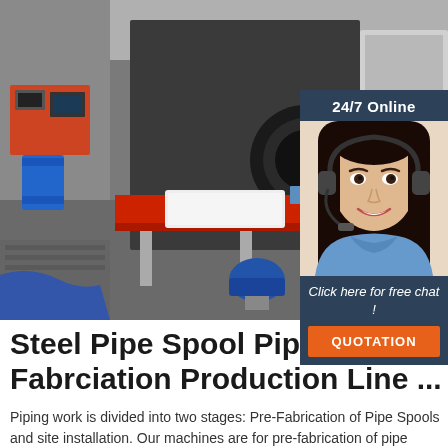[Figure (photo): Industrial pipe fabrication production line machinery in a factory setting. Large pipe bending/welding machine with red conveyor table and white plastic tray. Blue electric motor visible in foreground. Factory floor with various equipment.]
[Figure (photo): 24/7 Online chat widget overlay. Dark navy background with text '24/7 Online'. Photo of a smiling woman with dark hair wearing a headset. Text 'Click here for free chat!' and orange button labeled 'QUOTATION'.]
Steel Pipe Spool Pipeline Fabrciation Production Line ...
Piping work is divided into two stages: Pre-Fabrication of Pipe Spools and site installation. Our machines are for pre-fabrication of pipe